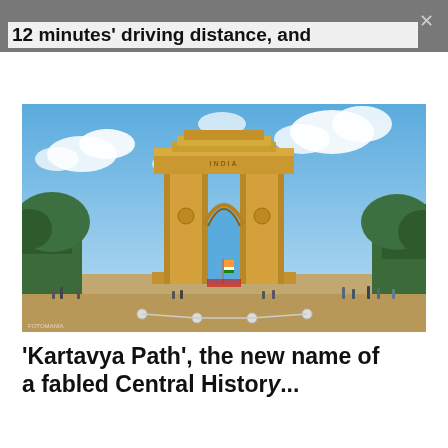12 minutes' driving distance, and
[Figure (photo): India Gate war memorial arch in New Delhi under a blue sky with white clouds, green trees on both sides, tourists visible in the foreground on a paved plaza]
'Kartavya Path', the new name of a fabled Central History...